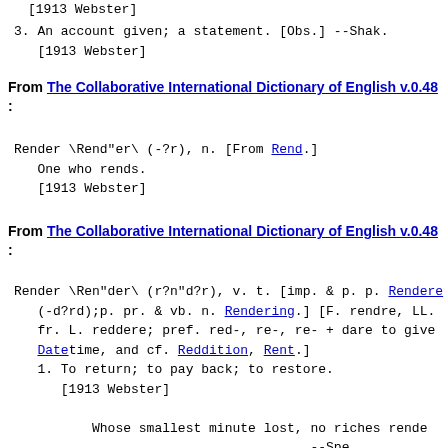[1913 Webster]
3. An account given; a statement. [Obs.] --Shak.
   [1913 Webster]
From The Collaborative International Dictionary of English v.0.48 :
Render \Rend"er\ (-?r), n. [From Rend.]
   One who rends.
   [1913 Webster]
From The Collaborative International Dictionary of English v.0.48 :
Render \Ren"der\ (r?n"d?r), v. t. [imp. & p. p. Rendere
   (-d?rd);p. pr. & vb. n. Rendering.] [F. rendre, LL.
   fr. L. reddere; pref. red-, re-, re- + dare to give
   Datetime, and cf. Reddition, Rent.]
   1. To return; to pay back; to restore.
      [1913 Webster]

         Whose smallest minute lost, no riches rende
                                            --Spe

      [1913 Webster]